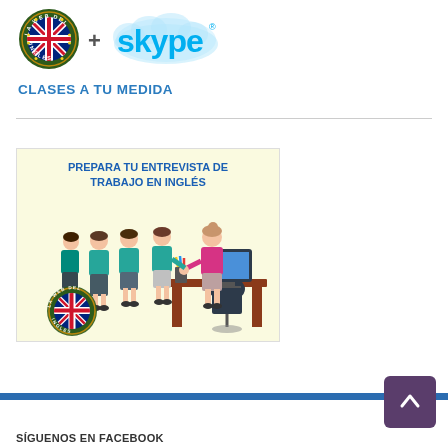[Figure (logo): La Web del Inglés circular logo with UK flag, green border with text 'LA WEB DEL INGLÉS']
[Figure (logo): Skype logo in blue cloud style with registered trademark symbol]
CLASES A TU MEDIDA
[Figure (illustration): Illustration showing people queuing for a job interview in English, with text 'PREPARA TU ENTREVISTA DE TRABAJO EN INGLÉS' and La Web del Inglés logo]
SÍGUENOS EN FACEBOOK